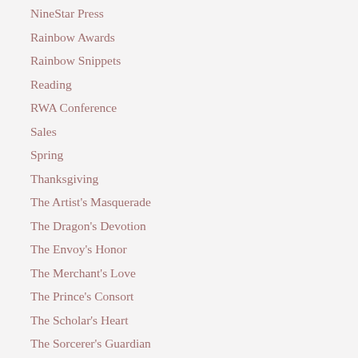NineStar Press
Rainbow Awards
Rainbow Snippets
Reading
RWA Conference
Sales
Spring
Thanksgiving
The Artist's Masquerade
The Dragon's Devotion
The Envoy's Honor
The Merchant's Love
The Prince's Consort
The Scholar's Heart
The Sorcerer's Guardian
The Spymaster's Secret
To Love The Dragon King
Travel
Turn The Page Anthology